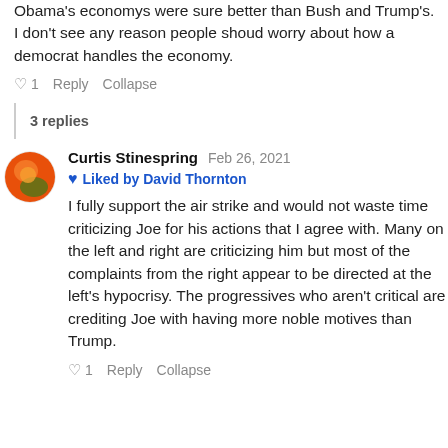Obama's economys were sure better than Bush and Trump's. I don't see any reason people shoud worry about how a democrat handles the economy.
♡ 1   Reply   Collapse
3 replies
Curtis Stinespring   Feb 26, 2021
♥ Liked by David Thornton
I fully support the air strike and would not waste time criticizing Joe for his actions that I agree with. Many on the left and right are criticizing him but most of the complaints from the right appear to be directed at the left's hypocrisy. The progressives who aren't critical are crediting Joe with having more noble motives than Trump.
♡ 1   Reply   Collapse